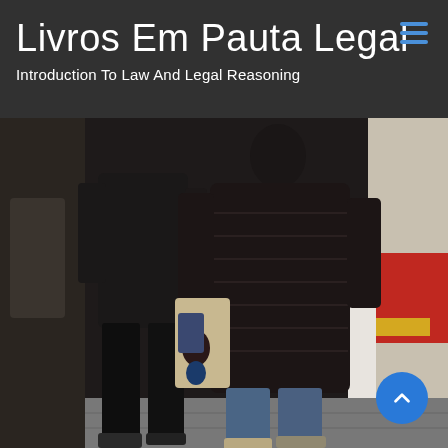Livros Em Pauta Legal
Introduction To Law And Legal Reasoning
[Figure (photo): Two people walking together holding hands on a street, both wearing dark winter coats. The person on the right wears a quilted puffer jacket and blue jeans. Urban street background with a wall and red signage visible on the right.]